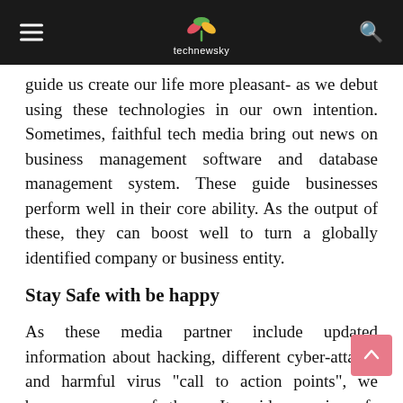technewsky
guide us create our life more pleasant- as we debut using these technologies in our own intention. Sometimes, faithful tech media bring out news on business management software and database management system. These guide businesses perform well in their core ability. As the output of these, they can boost well to turn a globally identified company or business entity.
Stay Safe with be happy
As these media partner include updated information about hacking, different cyber-attacks and harmful virus "call to action points", we become aware of these. It guides us in safe browsing and secured transaction.
Save time with money